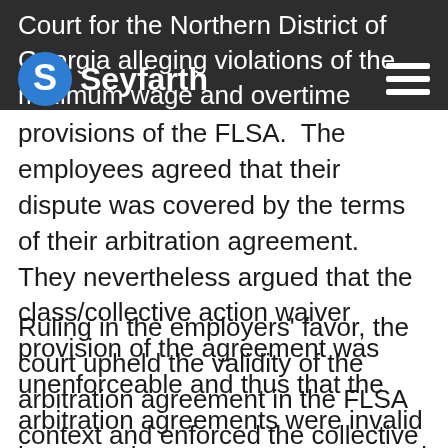Seyfarth
Court for the Northern District of Georgia alleging violations of the minimum wage and overtime provisions of the FLSA.  The employees agreed that their dispute was covered by the terms of their arbitration agreement.  They nevertheless argued that the class/collective action waiver provision of the agreement was unenforceable and thus that the arbitration agreements were invalid because the agreements attempted to waive a non-waivable, substantive right to a collective action.
Ruling in the employers' favor, the court upheld the validity of the arbitration agreement in the FLSA context and enforced the collective action waiver provision.  After an extensive examination of the FLSA's legislative text, history, purpose, and prior